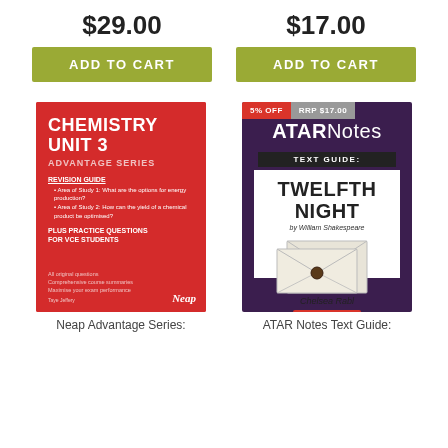$29.00
$17.00
ADD TO CART
ADD TO CART
[Figure (illustration): Red book cover: Chemistry Unit 3 Advantage Series by Neap. Contains revision guide bullet points and practice questions info.]
[Figure (illustration): Purple/dark book cover: ATAR Notes Text Guide: Twelfth Night by William Shakespeare. Author Chelsea Rabl. Shows 5% OFF and RRP $17.00 badges.]
Neap Advantage Series:
ATAR Notes Text Guide: